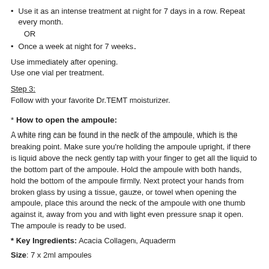Use it as an intense treatment at night for 7 days in a row. Repeat every month.
OR
Once a week at night for 7 weeks.
Use immediately after opening.
Use one vial per treatment.
Step 3:
Follow with your favorite Dr.TEMT moisturizer.
* How to open the ampoule:
A white ring can be found in the neck of the ampoule, which is the breaking point. Make sure you're holding the ampoule upright, if there is liquid above the neck gently tap with your finger to get all the liquid to the bottom part of the ampoule. Hold the ampoule with both hands, hold the bottom of the ampoule firmly. Next protect your hands from broken glass by using a tissue, gauze, or towel when opening the ampoule, place this around the neck of the ampoule with one thumb against it, away from you and with light even pressure snap it open. The ampoule is ready to be used.
* Key Ingredients: Acacia Collagen, Aquaderm
Size: 7 x 2ml ampoules